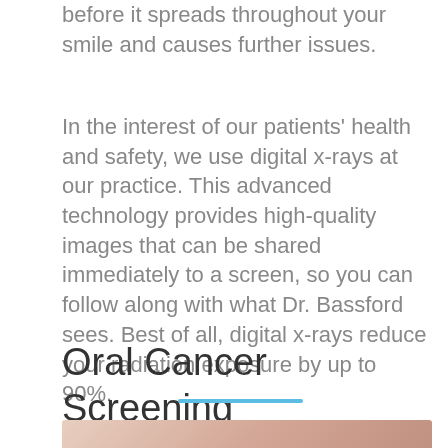before it spreads throughout your smile and causes further issues.
In the interest of our patients' health and safety, we use digital x-rays at our practice. This advanced technology provides high-quality images that can be shared immediately to a screen, so you can follow along with what Dr. Bassford sees. Best of all, digital x-rays reduce your radiation exposure by up to 90%.
Oral Cancer Screening
[Figure (photo): Partial view of a back-to-top button (gray rounded rectangle with white chevron/arrow) and bottom of page with a blue horizontal divider line and the beginning of an image at the bottom.]